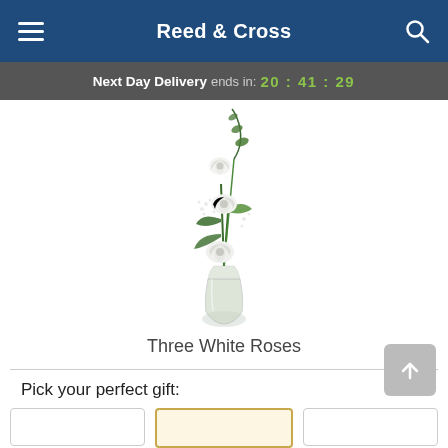Reed & Cross
Next Day Delivery ends in: 20:41:29
[Figure (photo): Three white roses with greenery in a clear glass bud vase on a white background]
Three White Roses
Pick your perfect gift: